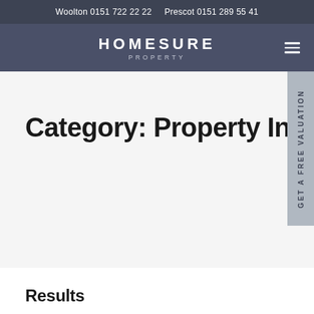Woolton 0151 722 22 22    Prescot 0151 289 55 41
[Figure (logo): Homesure Property logo with navigation bar and hamburger menu icon]
Category: Property Investment
Results